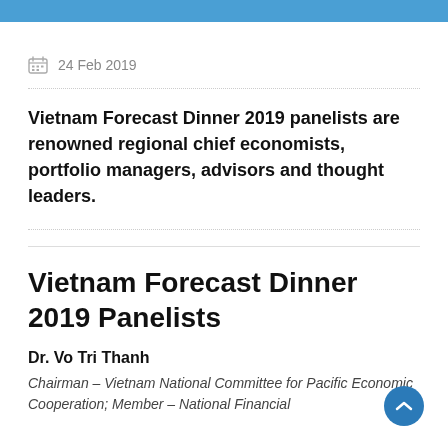24 Feb 2019
Vietnam Forecast Dinner 2019 panelists are renowned regional chief economists, portfolio managers, advisors and thought leaders.
Vietnam Forecast Dinner 2019 Panelists
Dr. Vo Tri Thanh
Chairman – Vietnam National Committee for Pacific Economic Cooperation; Member – National Financial